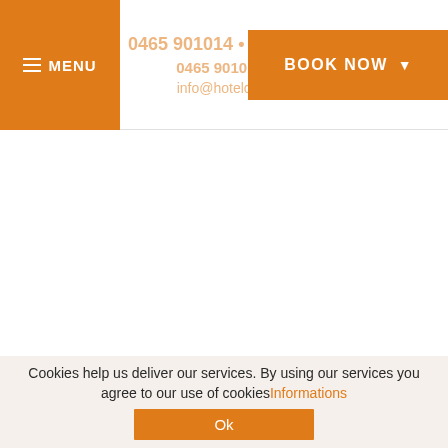≡ MENU | 0465 901014 • Fax (+39) 0465 901014 • info@hotelcar... | BOOK NOW
Cookies help us deliver our services. By using our services you agree to our use of cookies Informations Ok